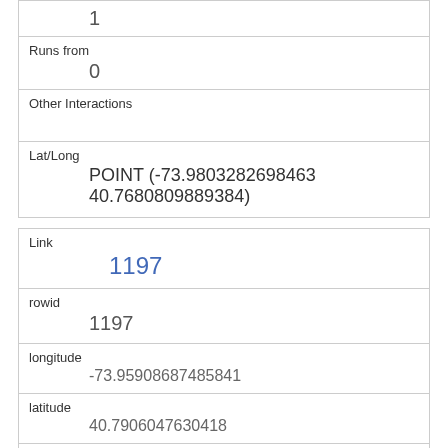|  | 1 |
| Runs from | 0 |
| Other Interactions |  |
| Lat/Long | POINT (-73.9803282698463 40.7680809889384) |
| Link | 1197 |
| rowid | 1197 |
| longitude | -73.95908687485841 |
| latitude | 40.7906047630418 |
| Unique Squirrel ID | 32E-PM-1017-09 |
| Hectare | 32E |
| Shift |  |